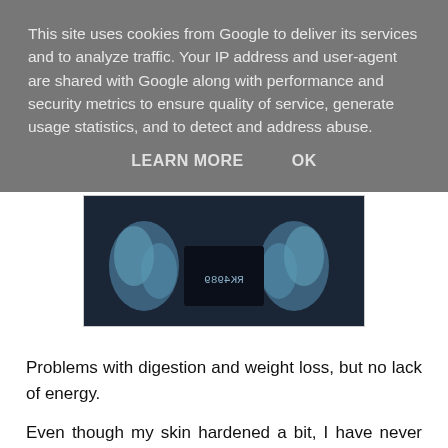This site uses cookies from Google to deliver its services and to analyze traffic. Your IP address and user-agent are shared with Google along with performance and security metrics to ensure quality of service, generate usage statistics, and to detect and address abuse.
LEARN MORE    OK
[Figure (photo): X-ray image showing teeth/jaw with text overlay 'RK4989']
Problems with digestion and weight loss, but no lack of energy.
Even though my skin hardened a bit, I have never had any Raynaud's or Lung problems. I have no internal organ problems.
I only struggle with bone loss in my fingertips and jaw.
As a result, my looks have changed. I can not eat quickly